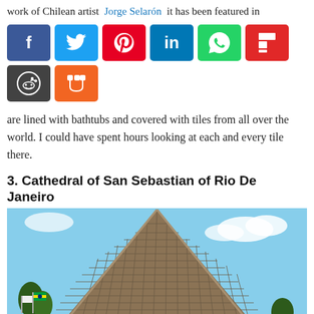work of Chilean artist  Jorge Selarón  it has been featured in
[Figure (infographic): Social media sharing buttons: Facebook (blue), Twitter (light blue), Pinterest (red), LinkedIn (blue), WhatsApp (green), Flipboard (red), Reddit (dark gray), Mix (orange)]
are lined with bathtubs and covered with tiles from all over the world. I could have spent hours looking at each and every tile there.
3. Cathedral of San Sebastian of Rio De Janeiro
[Figure (photo): Exterior photo of the Cathedral of San Sebastian of Rio De Janeiro, showing the distinctive conical/pyramid-shaped brutalist architecture with grid-patterned concrete facade, taken from below against a blue sky with trees and flags visible at the base.]